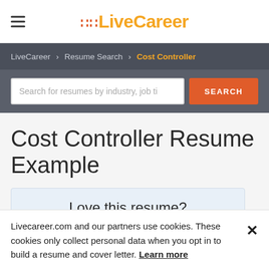LiveCareer
LiveCareer > Resume Search > Cost Controller
Search for resumes by industry, job ti
Cost Controller Resume Example
Love this resume?
Livecareer.com and our partners use cookies. These cookies only collect personal data when you opt in to build a resume and cover letter. Learn more